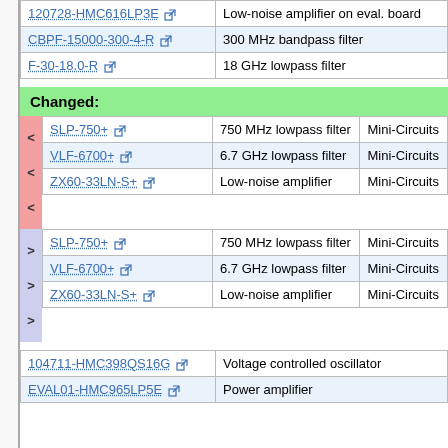| Component | Description |
| --- | --- |
| 120728-HMC616LP3E ↗ | Low-noise amplifier on eval. board |
| CBPF-15000-300-4-R ↗ | 300 MHz bandpass filter |
| F-30-18.0-R ↗ | 18 GHz lowpass filter |
Changed:
| Component | Description | Vendor |
| --- | --- | --- |
| SLP-750+ ↗ | 750 MHz lowpass filter | Mini-Circuits |
| VLF-6700+ ↗ | 6.7 GHz lowpass filter | Mini-Circuits |
| ZX60-33LN-S+ ↗ | Low-noise amplifier | Mini-Circuits |
| Component | Description | Vendor |
| --- | --- | --- |
| SLP-750+ ↗ | 750 MHz lowpass filter | Mini-Circuits |
| VLF-6700+ ↗ | 6.7 GHz lowpass filter | Mini-Circuits |
| ZX60-33LN-S+ ↗ | Low-noise amplifier | Mini-Circuits |
| Component | Description |
| --- | --- |
| 104711-HMC398QS16G ↗ | Voltage controlled oscillator |
| EVAL01-HMC965LP5E ↗ | Power amplifier |